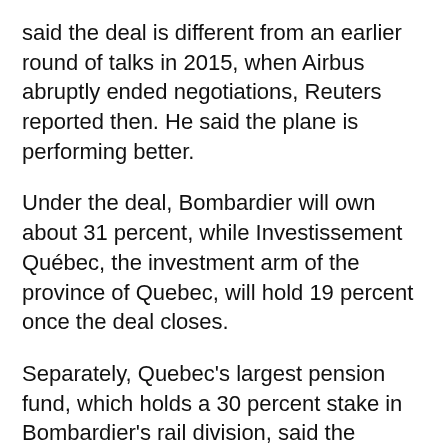said the deal is different from an earlier round of talks in 2015, when Airbus abruptly ended negotiations, Reuters reported then. He said the plane is performing better.
Under the deal, Bombardier will own about 31 percent, while Investissement Québec, the investment arm of the province of Quebec, will hold 19 percent once the deal closes.
Separately, Quebec's largest pension fund, which holds a 30 percent stake in Bombardier's rail division, said the decision “strengthens the company, improves its prospects for growth, and makes the company more robust over the long term, which is important to shareholders.”